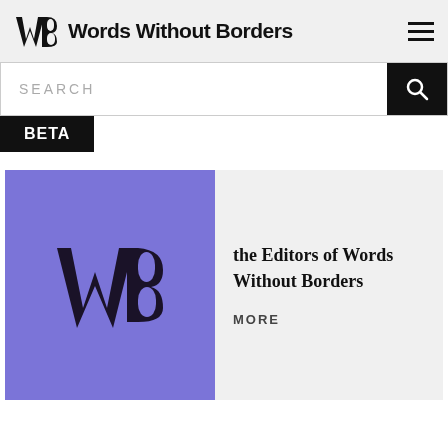Words Without Borders
SEARCH
BETA
[Figure (illustration): Purple square card with WWB logo (stylized W and B) in dark color on purple background]
the Editors of Words Without Borders
MORE